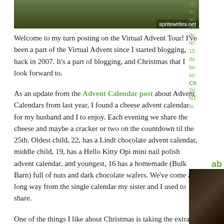[Figure (photo): Landscape photo with spritewrites.net watermark in bottom right]
Welcome to my turn posting on the Virtual Advent Tour! I've been a part of the Virtual Advent since I started blogging, back in 2007. It's a part of blogging, and Christmas that I look forward to.
As an update from the Advent Calendar post about Advent Calendars from last year, I found a cheese advent calendar for my husband and I to enjoy. Each evening we share the cheese and maybe a cracker or two on the countdown til the 25th. Oldest child, 22, has a Lindt chocolate advent calendar, middle child, 19, has a Hello Kitty Opi mini nail polish advent calendar, and youngest, 16 has a homemade (Bulk Barn) full of nuts and dark chocolate wafers. We've come a long way from the single calendar my sister and I used to share.
One of the things I like about Christmas is taking the extra effort to fancy things up.
So it's the time of year when I put some icing on the cookies, or make cookies that require rolling, and then coating in something extra or putting the maraschino cherry on the ginger cookie.
Decorating around the house and outside, and bringing out some fancy dishes to serve some h'ordoeuvres. Heck, even making the h'ordoeuvres in